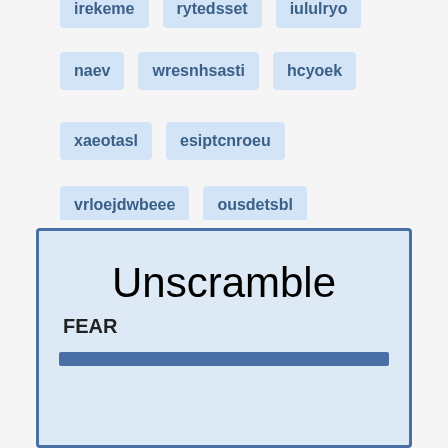irekeme
rytedsset
iululryo
naev
wresnhsasti
hcyoek
xaeotasl
esiptcnroeu
vrloejdwbeee
ousdetsbl
Unscramble
FEAR